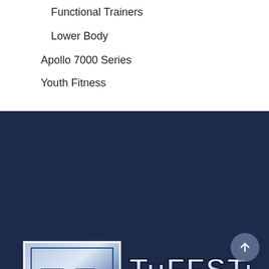Functional Trainers
Lower Body
Apollo 7000 Series
Youth Fitness
[Figure (logo): TuffStuff Fitness International logo — metallic shield with TF initials on left, bold stylized text TUFFSTUFF FITNESS INTERNATIONAL on right, white/silver on dark navy background]
Since our inception five decades ago (Est. 1971), TuffStuff Fitness International has become recognized worldwide as a leading manufacturer high quality consumer and commercial strength